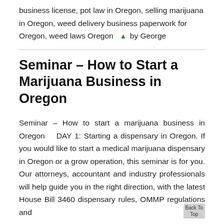business license, pot law in Oregon, selling marijuana in Oregon, weed delivery business paperwork for Oregon, weed laws Oregon  👤 by George
Seminar – How to Start a Marijuana Business in Oregon
Seminar – How to start a marijuana business in Oregon DAY 1: Starting a dispensary in Oregon. If you would like to start a medical marijuana dispensary in Oregon or a grow operation, this seminar is for you. Our attorneys, accountant and industry professionals will help guide you in the right direction, with the latest House Bill 3460 dispensary rules, OMMP regulations and